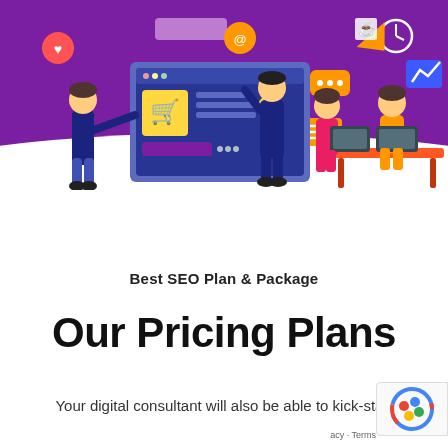[Figure (illustration): Digital marketing illustration on purple background showing people working with a large monitor displaying an e-commerce interface, a person presenting, and two people working on laptops at a desk, with floating icons including a heart, email, chat, arrow, hamburger menu, coffee cup, clock, and trending arrow]
Best SEO Plan & Package
Our Pricing Plans
Your digital consultant will also be able to kick-start